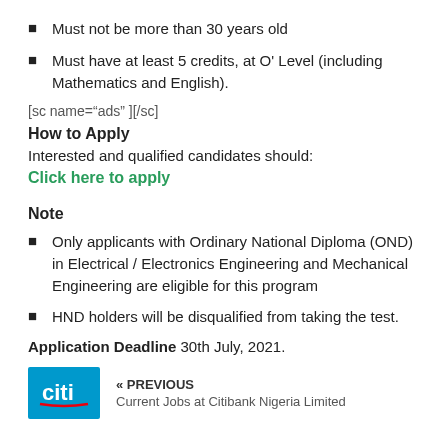Must not be more than 30 years old
Must have at least 5 credits, at O' Level (including Mathematics and English).
[sc name="ads" ][/sc]
How to Apply
Interested and qualified candidates should:
Click here to apply
Note
Only applicants with Ordinary National Diploma (OND) in Electrical / Electronics Engineering and Mechanical Engineering are eligible for this program
HND holders will be disqualified from taking the test.
Application Deadline  30th July, 2021.
« PREVIOUS
Current Jobs at Citibank Nigeria Limited